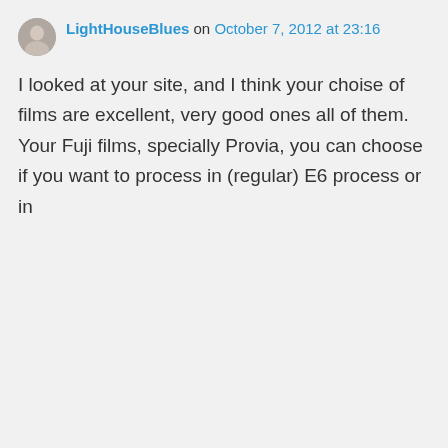LightHouseBlues on October 7, 2012 at 23:16
I looked at your site, and I think your choise of films are excellent, very good ones all of them.
Your Fuji films, specially Provia, you can choose if you want to process in (regular) E6 process or in
Privacy & Cookies: This site uses cookies. By continuing to use this website, you agree to their use.
To find out more, including how to control cookies, see here: Cookie Policy